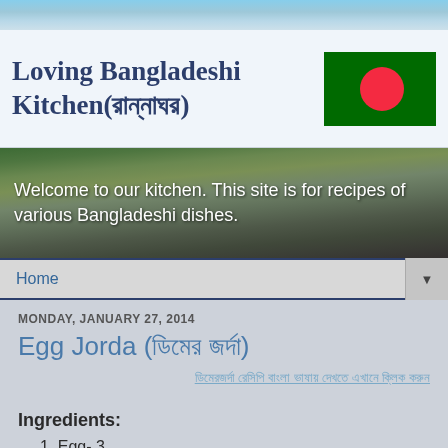[Figure (photo): Sky and road scenic banner image at top of page]
Loving Bangladeshi Kitchen(রান্নাঘর)
[Figure (illustration): Bangladesh national flag - green background with red circle]
Welcome to our kitchen. This site is for recipes of various Bangladeshi dishes.
Home
MONDAY, JANUARY 27, 2014
Egg Jorda (ডিমের জর্দা)
ডিমেরজর্দা রেসিপি বাংলা ভাষায় দেখতে এখানে ক্লিক করুন
Ingredients:
1. Egg- 3